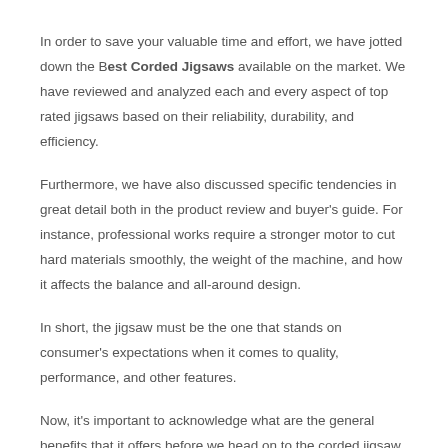In order to save your valuable time and effort, we have jotted down the Best Corded Jigsaws available on the market. We have reviewed and analyzed each and every aspect of top rated jigsaws based on their reliability, durability, and efficiency.
Furthermore, we have also discussed specific tendencies in great detail both in the product review and buyer's guide. For instance, professional works require a stronger motor to cut hard materials smoothly, the weight of the machine, and how it affects the balance and all-around design.
In short, the jigsaw must be the one that stands on consumer's expectations when it comes to quality, performance, and other features.
Now, it's important to acknowledge what are the general benefits that it offers before we head on to the corded jigsaw reviews.